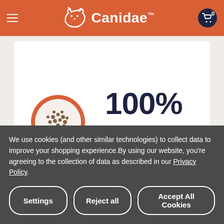[Figure (logo): Canidae brand header with orange background, hamburger menu icon on left, Canidae logo (cat and dog silhouette with text) in center, shopping cart with 0 items on right]
[Figure (photo): Orange bowl filled with dry pet food kibble, viewed from above]
100%
Day 10
100% Canidae
We use cookies (and other similar technologies) to collect data to improve your shopping experience.By using our website, you're agreeing to the collection of data as described in our Privacy Policy.
Settings
Reject all
Accept All Cookies